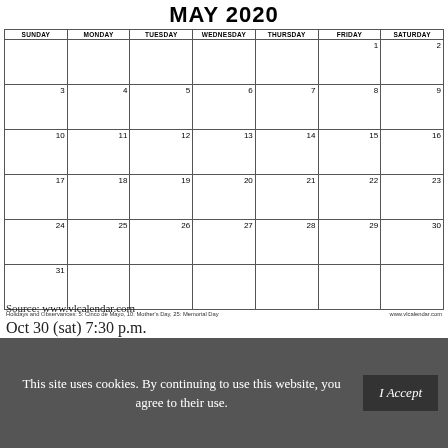MAY 2020
| SUNDAY | MONDAY | TUESDAY | WEDNESDAY | THURSDAY | FRIDAY | SATURDAY |
| --- | --- | --- | --- | --- | --- | --- |
|  |  |  |  |  | 1 | 2 |
| 3 | 4 | 5 | 6 | 7 | 8 | 9 |
| 10 | 11 | 12 | 13 | 14 | 15 | 16 |
| 17 | 18 | 19 | 20 | 21 | 22 | 23 |
| 24 | 25 | 26 | 27 | 28 | 29 | 30 |
| 31 |  |  |  |  |  |  |
Holidays and Observances: 5: Cinco de Mayo, 10: Mother's Day, 25: Memorial Day    www.vlcalendar.com
Source: www.vlcalendar.com
Oct 30 (sat) 7:30 p.m.
This site uses cookies. By continuing to use this website, you agree to their use.  I Accept